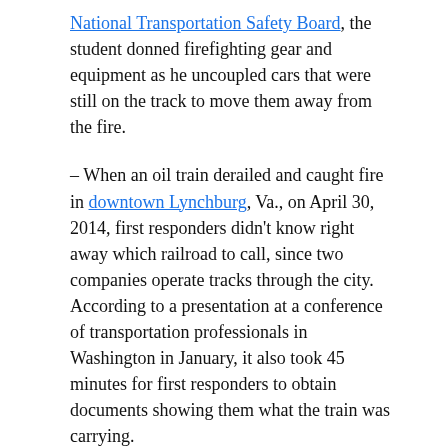National Transportation Safety Board, the student donned firefighting gear and equipment as he uncoupled cars that were still on the track to move them away from the fire.
– When an oil train derailed and caught fire in downtown Lynchburg, Va., on April 30, 2014, first responders didn't know right away which railroad to call, since two companies operate tracks through the city. According to a presentation at a conference of transportation professionals in Washington in January, it also took 45 minutes for first responders to obtain documents showing them what the train was carrying.
– After an oil train derailed and caught fire near Galena, Ill., on March 5 this year, volunteer firefighters could reach the remote site only via a bike path. Once there, they attempted to extinguish the fire, but had to retreat when they realized they couldn't, leaving their equipment